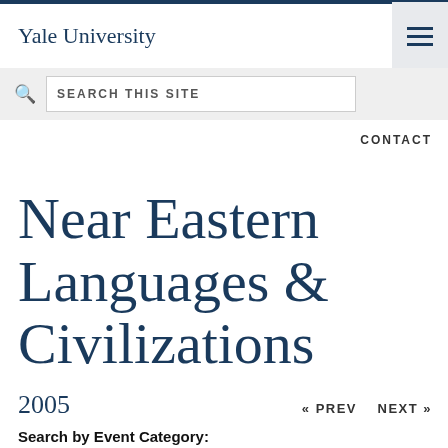Yale University
SEARCH THIS SITE
CONTACT
Near Eastern Languages & Civilizations
2005
« PREV   NEXT »
Search by Event Category: